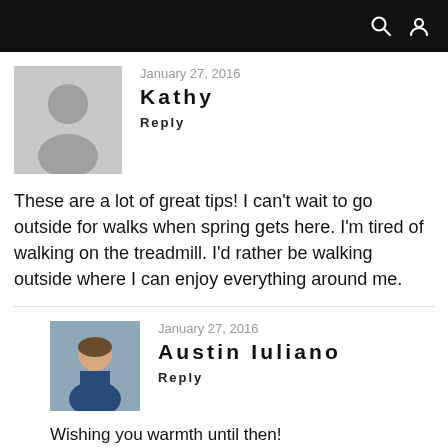January 27, 2016
Kathy
Reply
These are a lot of great tips! I can't wait to go outside for walks when spring gets here. I'm tired of walking on the treadmill. I'd rather be walking outside where I can enjoy everything around me.
January 27, 2016
Austin Iuliano
Reply
Wishing you warmth until then!